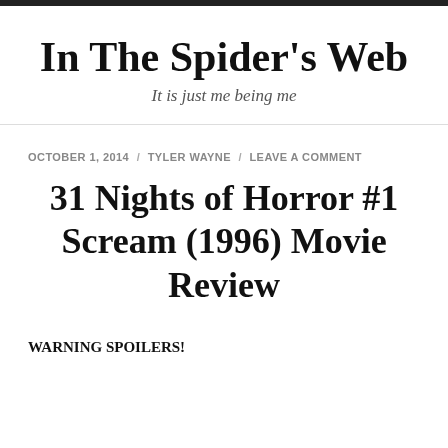In The Spider's Web
It is just me being me
OCTOBER 1, 2014 / TYLER WAYNE / LEAVE A COMMENT
31 Nights of Horror #1 Scream (1996) Movie Review
WARNING SPOILERS!